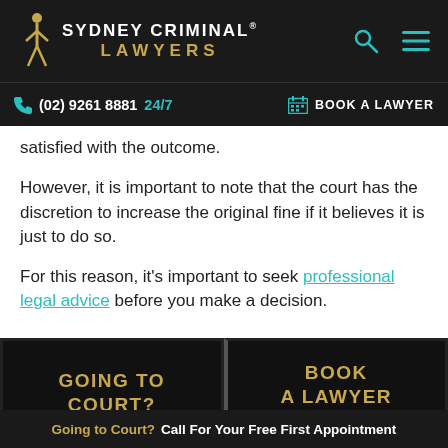Sydney Criminal Lawyers — (02) 9261 8881 24/7 — BOOK A LAWYER
satisfied with the outcome.
However, it is important to note that the court has the discretion to increase the original fine if it believes it is just to do so.
For this reason, it's important to seek professional legal advice before you make a decision.
[Figure (other): Two CTA buttons side by side: 'GOING TO COURT?' on the left and 'BOOK A LAWYER' on the right, both with gold text on black background]
Going to Court? Call For Your Free First Appointment